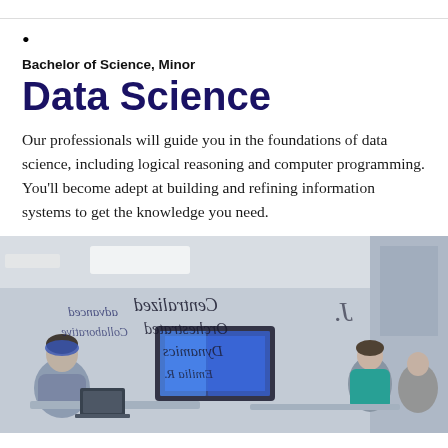•
Bachelor of Science, Minor
Data Science
Our professionals will guide you in the foundations of data science, including logical reasoning and computer programming. You'll become adept at building and refining information systems to get the knowledge you need.
[Figure (photo): Students in a modern classroom working at computers, with writing on a glass wall in the foreground including handwritten text. A screen is visible in the background.]